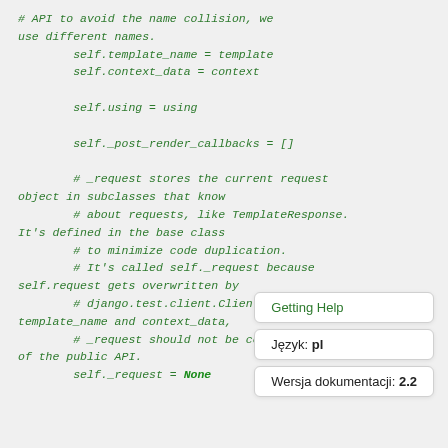# API to avoid the name collision, we use different names.
        self.template_name = template
        self.context_data = context

        self.using = using

        self._post_render_callbacks = []

        # _request stores the current request object in subclasses that know
        # about requests, like TemplateResponse. It's defined in the base class
        # to minimize code duplication.
        # It's called self._request because self.request gets overwritten by
        # django.test.client.Client. Unlike template_name and context_data,
        # _request should not be considered part of the public API.
        self._request = None
Getting Help
Język: pl
Wersja dokumentacji: 2.2